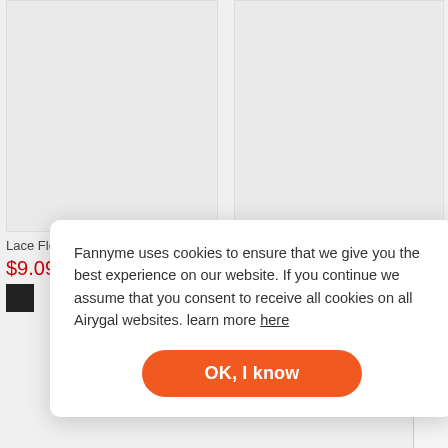[Figure (photo): Product image placeholder for Lace Floral Hollow Out Adjustable blouse, light gray background]
[Figure (photo): Product image placeholder for Criss-Cross Cold Shoulder Blouse, light gray background]
Lace Floral Hollow Out Adjustable...
Criss-Cross Cold Shoulder Blouse
$9.09
$15.39
Fannyme uses cookies to ensure that we give you the best experience on our website. If you continue we assume that you consent to receive all cookies on all Airygal websites. learn more here
OK, I know